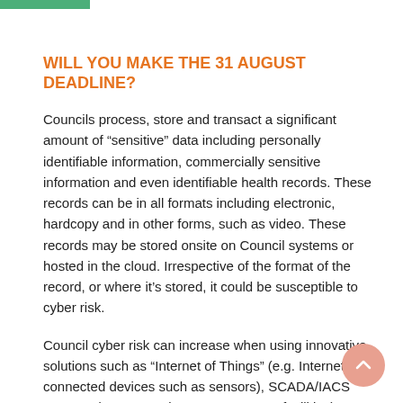WILL YOU MAKE THE 31 AUGUST DEADLINE?
Councils process, store and transact a significant amount of “sensitive” data including personally identifiable information, commercially sensitive information and even identifiable health records. These records can be in all formats including electronic, hardcopy and in other forms, such as video. These records may be stored onsite on Council systems or hosted in the cloud. Irrespective of the format of the record, or where it’s stored, it could be susceptible to cyber risk.
Council cyber risk can increase when using innovative solutions such as “Internet of Things” (e.g. Internet connected devices such as sensors), SCADA/IACS systems (e.g. managing water or sewer facilities), community safety facilities (e.g. CCTV cameras), and